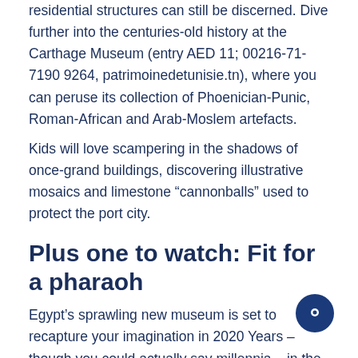residential structures can still be discerned. Dive further into the centuries-old history at the Carthage Museum (entry AED 11; 00216-71-7190 9264, patrimoinedetunisie.tn), where you can peruse its collection of Phoenician-Punic, Roman-African and Arab-Moslem artefacts.
Kids will love scampering in the shadows of once-grand buildings, discovering illustrative mosaics and limestone “cannonballs” used to protect the port city.
Plus one to watch: Fit for a pharaoh
Egypt’s sprawling new museum is set to recapture your imagination in 2020 Years – though you could actually say millennia – in the making, the Grand Egyptian Museum (gem.gov.eg) is putting on the final touches to